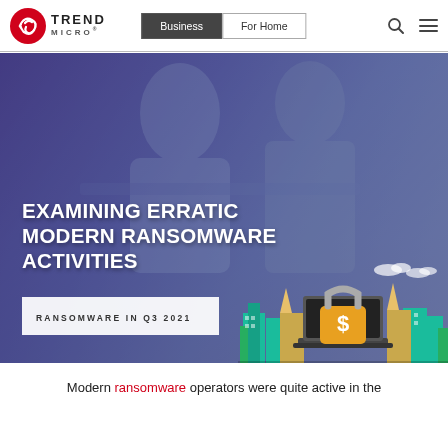Trend Micro | Business | For Home
[Figure (screenshot): Trend Micro website screenshot showing navigation bar with logo, Business and For Home buttons, search icon, and hamburger menu]
EXAMINING ERRATIC MODERN RANSOMWARE ACTIVITIES
RANSOMWARE IN Q3 2021
[Figure (illustration): City skyline illustration with teal buildings and a padlock with dollar sign on a laptop, representing ransomware threat]
Modern ransomware operators were quite active in the